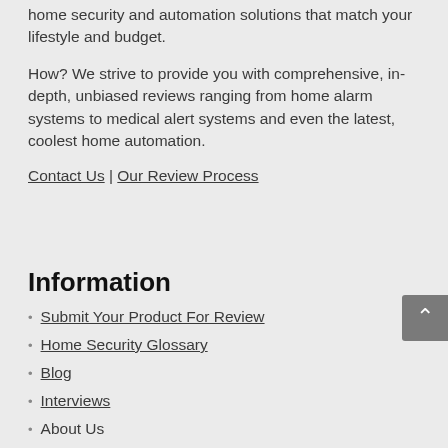home security and automation solutions that match your lifestyle and budget.
How? We strive to provide you with comprehensive, in-depth, unbiased reviews ranging from home alarm systems to medical alert systems and even the latest, coolest home automation.
Contact Us | Our Review Process
Information
Submit Your Product For Review
Home Security Glossary
Blog
Interviews
About Us